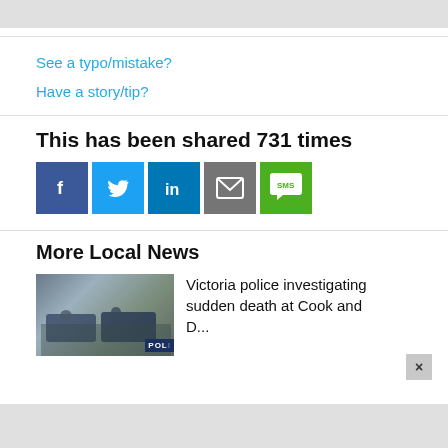See a typo/mistake?
Have a story/tip?
This has been shared 731 times
[Figure (infographic): Social share buttons: Facebook (blue), Twitter (light blue), LinkedIn (dark blue), Email (gray), SMS (green)]
More Local News
[Figure (photo): Police scene photo with vehicles and officers, 'POLI' banner visible]
Victoria police investigating sudden death at Cook and...